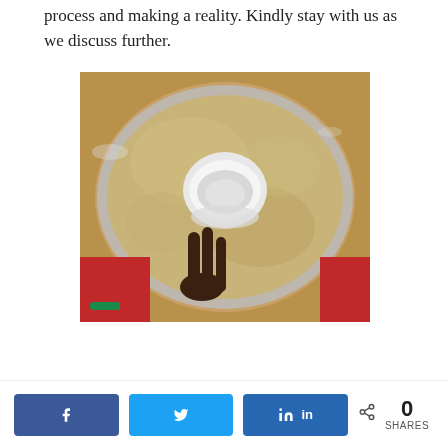process and making a reality. Kindly stay with us as we discuss further.
[Figure (photo): Overhead view of a large metal bowl filled with grain/sand, with a smaller white bowl/cup placed in the center. Two hands are shown holding the small bowl. Person is wearing red clothing. Background is sandy/earthen floor.]
Facebook share, Twitter share, LinkedIn share, 0 SHARES